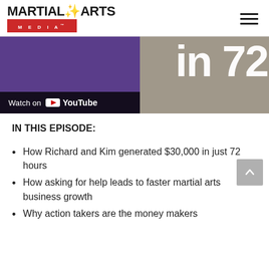[Figure (logo): Martial Arts Media logo with red MEDIA bar]
[Figure (screenshot): YouTube video thumbnail showing 'Watch on YouTube' overlay, purple background with large text '72']
IN THIS EPISODE:
How Richard and Kim generated $30,000 in just 72 hours
How asking for help leads to faster martial arts business growth
Why action takers are the money makers